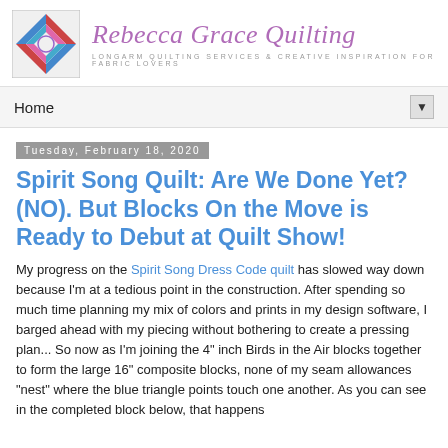Rebecca Grace Quilting — LONGARM QUILTING SERVICES & CREATIVE INSPIRATION FOR FABRIC LOVERS
Home
Tuesday, February 18, 2020
Spirit Song Quilt: Are We Done Yet? (NO). But Blocks On the Move is Ready to Debut at Quilt Show!
My progress on the Spirit Song Dress Code quilt has slowed way down because I'm at a tedious point in the construction.  After spending so much time planning my mix of colors and prints in my design software, I barged ahead with my piecing without bothering to create  a pressing plan...  So now as I'm joining the 4" inch Birds in the Air blocks together to form the large 16" composite blocks, none of my seam allowances "nest" where the blue triangle points touch one another.  As you can see in the completed block below, that happens